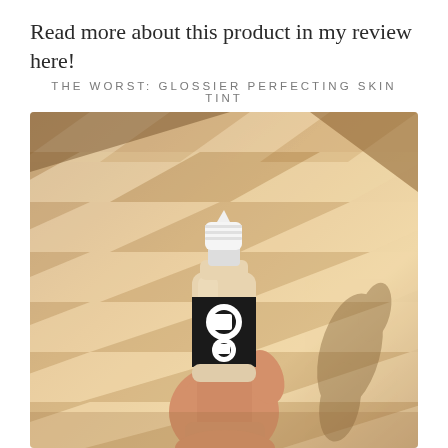Read more about this product in my review here!
THE WORST: GLOSSIER PERFECTING SKIN TINT
[Figure (photo): A hand holding a small Glossier Perfecting Skin Tint bottle with a white dropper cap and black-and-white Glossier logo against a warm beige background with diagonal light and shadow stripes from window blinds. The bottle's shadow is cast to the right.]